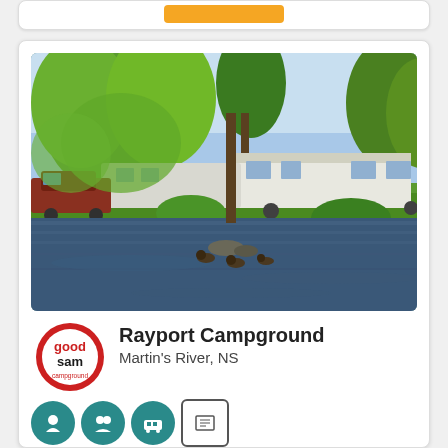[Figure (photo): Outdoor campground scene showing RV trailers parked near a river with lush green trees. Ducks are visible in the reflective water in the foreground. A car is parked on the left side.]
Rayport Campground
Martin's River, NS
[Figure (logo): Good Sam Campground logo — red and black text reading 'good sam campground']